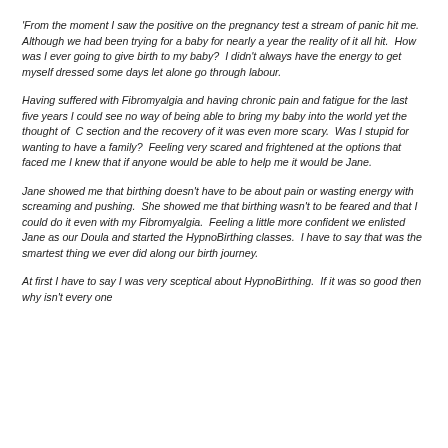'From the moment I saw the positive on the pregnancy test a stream of panic hit me.  Although we had been trying for a baby for nearly a year the reality of it all hit.  How was I ever going to give birth to my baby?  I didn't always have the energy to get myself dressed some days let alone go through labour.
Having suffered with Fibromyalgia and having chronic pain and fatigue for the last five years I could see no way of being able to bring my baby into the world yet the thought of  C section and the recovery of it was even more scary.  Was I stupid for wanting to have a family?  Feeling very scared and frightened at the options that faced me I knew that if anyone would be able to help me it would be Jane.
Jane showed me that birthing doesn't have to be about pain or wasting energy with screaming and pushing.  She showed me that birthing wasn't to be feared and that I could do it even with my Fibromyalgia.  Feeling a little more confident we enlisted Jane as our Doula and started the HypnoBirthing classes.  I have to say that was the smartest thing we ever did along our birth journey.
At first I have to say I was very sceptical about HypnoBirthing.  If it was so good then why isn't every one